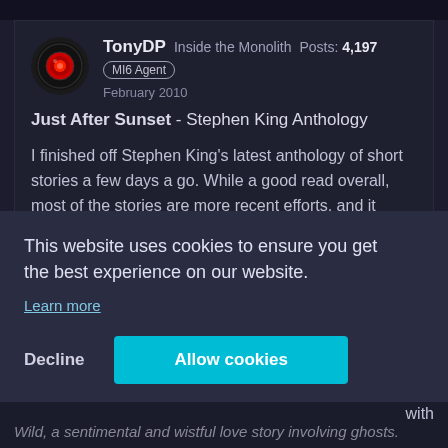TonyDP   Inside the Monolith   Posts: 4,197
MI6 Agent
February 2010
Just After Sunset - Stephen King Anthology
I finished off Stephen King's latest anthology of short stories a few days a go. While a good read overall, most of the stories are more recent efforts, and it shows as they are
This website uses cookies to ensure you get the best experience on our website.
Learn more
Decline   Allow cookies
Wild, a sentimental and wistful love story involving ghosts.